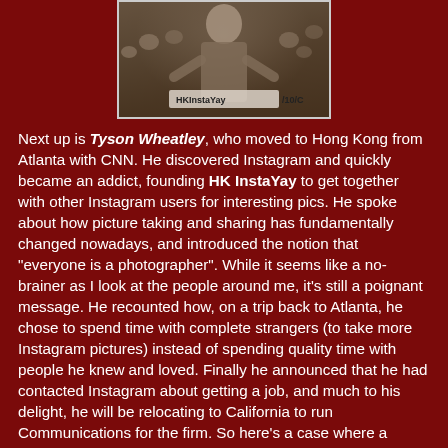[Figure (photo): A person presenting or speaking at an event, with a crowd visible in the background. A sign reading 'HKInstaYay' and '/10/C' is visible at the bottom of the photo.]
Next up is Tyson Wheatley, who moved to Hong Kong from Atlanta with CNN. He discovered Instagram and quickly became an addict, founding HK InstaYay to get together with other Instagram users for interesting pics. He spoke about how picture taking and sharing has fundamentally changed nowadays, and introduced the notion that "everyone is a photographer". While it seems like a no-brainer as I look at the people around me, it's still a poignant message. He recounted how, on a trip back to Atlanta, he chose to spend time with complete strangers (to take more Instagram pictures) instead of spending quality time with people he knew and loved. Finally he announced that he had contacted Instagram about getting a job, and much to his delight, he will be relocating to California to run Communications for the firm. So here's a case where a passion (or was it addiction?) for something has actually turned into a job. Pretty cool, eh?